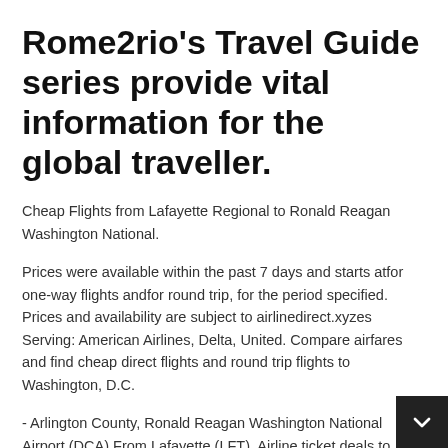Rome2rio's Travel Guide series provide vital information for the global traveller.
Cheap Flights from Lafayette Regional to Ronald Reagan Washington National.
Prices were available within the past 7 days and starts atfor one-way flights andfor round trip, for the period specified. Prices and availability are subject to airlinedirect.xyzes Serving: American Airlines, Delta, United. Compare airfares and find cheap direct flights and round trip flights to Washington, D.C.
- Arlington County, Ronald Reagan Washington National Airport (DCA) From Lafayette (LFT). Airline ticket deals to Washington, D.C. - Arlington County, Ronald Reagan Washington National Airport (DCA) from Lafayette (LFT). Save on flight to Washin...